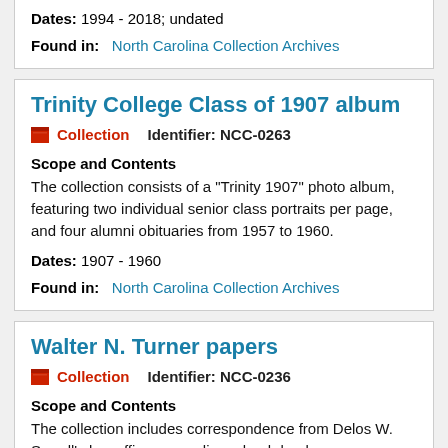Dates: 1994 - 2018; undated
Found in: North Carolina Collection Archives
Trinity College Class of 1907 album
Collection   Identifier: NCC-0263
Scope and Contents
The collection consists of a "Trinity 1907" photo album, featuring two individual senior class portraits per page, and four alumni obituaries from 1957 to 1960.
Dates: 1907 - 1960
Found in: North Carolina Collection Archives
Walter N. Turner papers
Collection   Identifier: NCC-0236
Scope and Contents
The collection includes correspondence from Delos W. Sorrell's law offices regarding a land deed